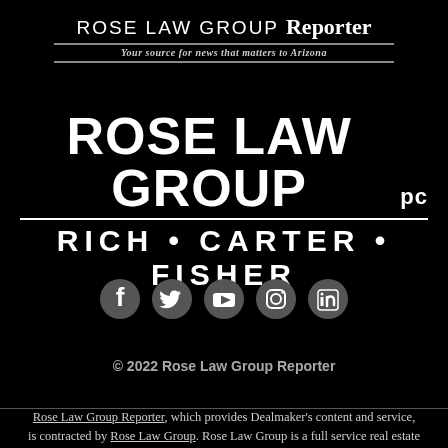[Figure (logo): Rose Law Group Reporter masthead logo with sans-serif main text and serif 'Reporter', tagline 'Your source for news that matters to Arizona', horizontal rules above and below tagline]
[Figure (logo): Rose Law Group PC large firm logo with partners RICH, CARTER, FISHER]
[Figure (infographic): Social media icons: Facebook, Twitter, YouTube, Instagram, LinkedIn]
© 2022 Rose Law Group Reporter
Rose Law Group Reporter, which provides Dealmaker's content and service, is contracted by Rose Law Group. Rose Law Group is a full service real estate and business Law Firm practicing in the areas of land use/entitlements, real estate